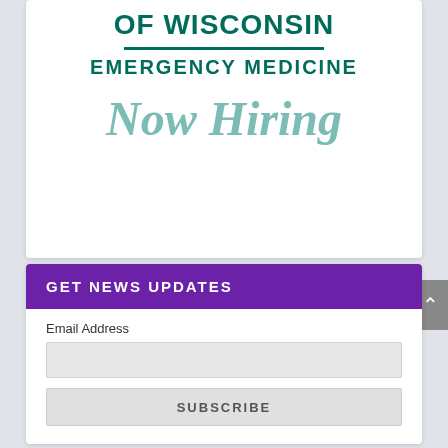[Figure (logo): University of Wisconsin Emergency Medicine logo with 'OF WISCONSIN' text, green divider line, 'EMERGENCY MEDICINE' text in dark teal, and 'Now Hiring' in light teal italic below]
GET NEWS UPDATES
Email Address
SUBSCRIBE